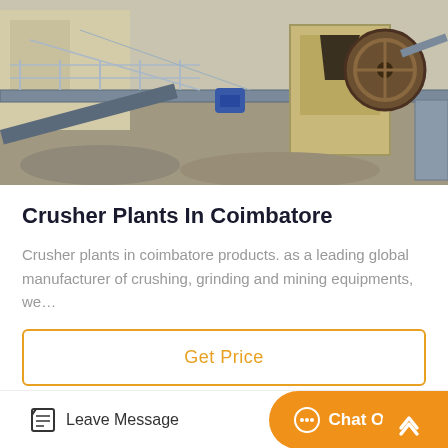[Figure (photo): Aerial/elevated view of a crusher plant industrial facility with metal walkways, railings, machinery including a jaw crusher and large flywheel, conveyor structures, and gravel/rock piles.]
Crusher Plants In Coimbatore
Crusher plants in coimbatore products. as a leading global manufacturer of crushing, grinding and mining equipments, we…
Get Price
[Figure (photo): Aerial view of dense green forested hillside or mountain covered with trees.]
Leave Message
Chat Online